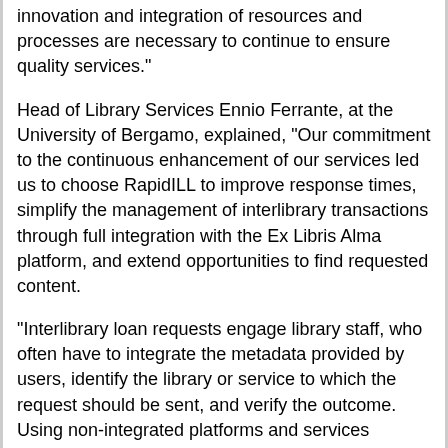innovation and integration of resources and processes are necessary to continue to ensure quality services."
Head of Library Services Ennio Ferrante, at the University of Bergamo, explained, "Our commitment to the continuous enhancement of our services led us to choose RapidILL to improve response times, simplify the management of interlibrary transactions through full integration with the Ex Libris Alma platform, and extend opportunities to find requested content.
"Interlibrary loan requests engage library staff, who often have to integrate the metadata provided by users, identify the library or service to which the request should be sent, and verify the outcome. Using non-integrated platforms and services generates duplication and parallel flows. RapidILL improves the efficiency of our service because it optimizes the choice of a partner, guarantees the fulfillment of requests in reduced time, and gives access to library collections of particular interest."
Ofer Mosseri, ProQuest and Ex Libris corporate vice president, general manager at EMEA, said, "Ex Libris congratulates the Free University of Bozen-Bolzano and the universities of Bergamo, Genoa, and Insubria for being the first in Italy to